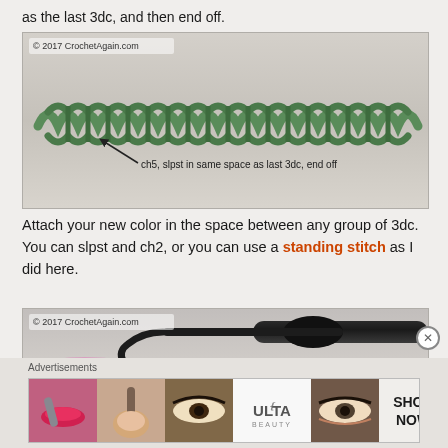as the last 3dc, and then end off.
[Figure (photo): Photo of a row of green crochet stitches (double crochet groups) on a light background. Watermark: © 2017 CrochetAgain.com. Caption: ch5, slpst in same space as last 3dc, end off]
Attach your new color in the space between any group of 3dc. You can slpst and ch2, or you can use a standing stitch as I did here.
[Figure (photo): Photo of a black crochet hook with pink yarn/thread on a light background. Watermark: © 2017 CrochetAgain.com.]
Advertisements